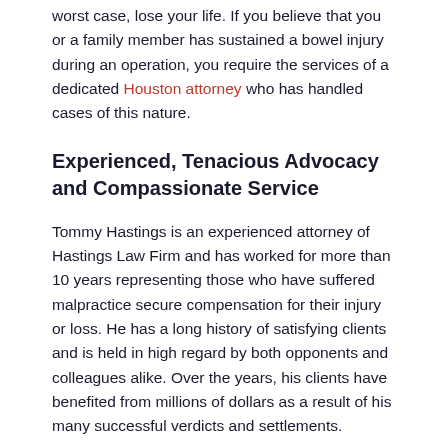worst case, lose your life. If you believe that you or a family member has sustained a bowel injury during an operation, you require the services of a dedicated Houston attorney who has handled cases of this nature.
Experienced, Tenacious Advocacy and Compassionate Service
Tommy Hastings is an experienced attorney of Hastings Law Firm and has worked for more than 10 years representing those who have suffered malpractice secure compensation for their injury or loss. He has a long history of satisfying clients and is held in high regard by both opponents and colleagues alike. Over the years, his clients have benefited from millions of dollars as a result of his many successful verdicts and settlements.
Our entire team develops a connection with you and your story. We have created a comfortable environment so that you feel as relaxed as possible when you attend our office. We believe that this relationship enables our staff to invest in your case on a higher level. We become dedicated to securing justice